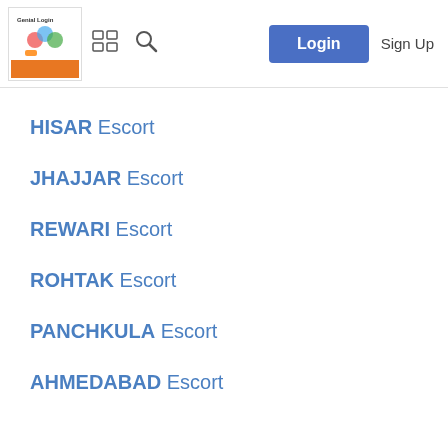Genial Login | Login | Sign Up
HISAR Escort
JHAJJAR Escort
REWARI Escort
ROHTAK Escort
PANCHKULA Escort
AHMEDABAD Escort